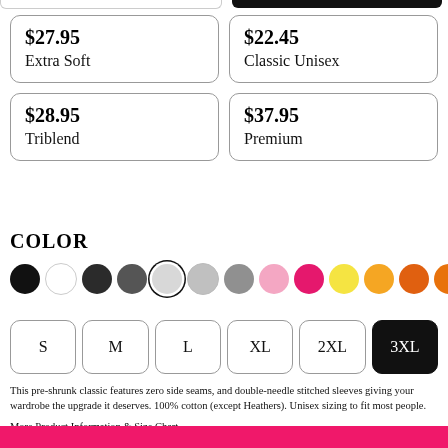$27.95
Extra Soft
$22.45
Classic Unisex
$28.95
Triblend
$37.95
Premium
COLOR
[Figure (illustration): Row of color swatches: black, white, dark charcoal, dark gray, light gray (selected/outlined), light gray 2, medium gray, light pink, hot pink, yellow, light orange, orange, dark orange]
[Figure (illustration): Size selector buttons: S, M, L, XL, 2XL, 3XL (3XL selected/black)]
This pre-shrunk classic features zero side seams, and double-needle stitched sleeves giving your wardrobe the upgrade it deserves. 100% cotton (except Heathers). Unisex sizing to fit most people.
More Product Information & Size Chart